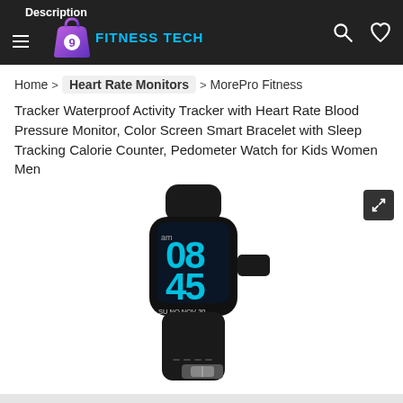Description | FITNESS TECH
Home > Heart Rate Monitors > MorePro Fitness
Tracker Waterproof Activity Tracker with Heart Rate Blood Pressure Monitor, Color Screen Smart Bracelet with Sleep Tracking Calorie Counter, Pedometer Watch for Kids Women Men
[Figure (photo): A MorePro fitness tracker smartband with black silicone strap. The color screen displays the time 08:45 am and date SU NO NOV 30, with blue digital clock digits on a dark background.]